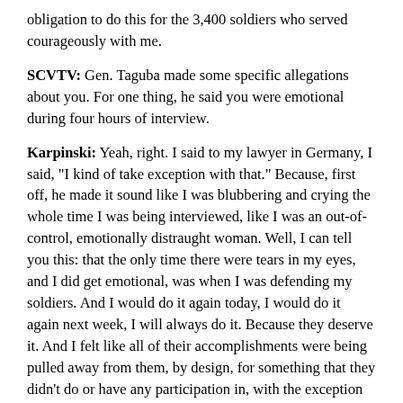obligation to do this for the 3,400 soldiers who served courageously with me.
SCVTV: Gen. Taguba made some specific allegations about you. For one thing, he said you were emotional during four hours of interview.
Karpinski: Yeah, right. I said to my lawyer in Germany, I said, "I kind of take exception with that." Because, first off, he made it sound like I was blubbering and crying the whole time I was being interviewed, like I was an out-of-control, emotionally distraught woman. Well, I can tell you this: that the only time there were tears in my eyes, and I did get emotional, was when I was defending my soldiers. And I would do it again today, I would do it again next week, I will always do it. Because they deserve it. And I felt like all of their accomplishments were being pulled away from them, by design, for something that they didn't do or have any participation in, with the exception of the six or seven who were so vividly photographed.
    But it wasn't me who was overwhelmed. Every man in that room — and there were six of them — was in tears when my statement was finished. Every one of